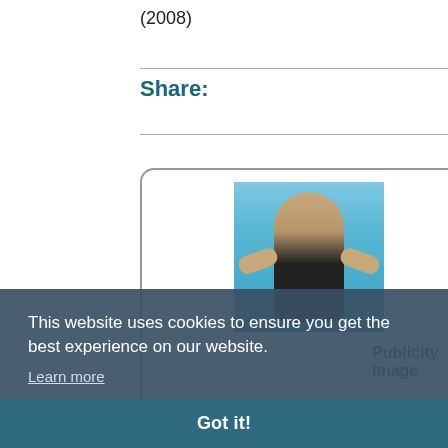(2008)
Share:
[Figure (photo): A person viewed from behind, shirtless, wearing dark shorts, arms spread wide, silhouetted against a blue sky background. Labeled 'Publicity image'.]
Publicity image
This website uses cookies to ensure you get the best experience on our website.
Learn more
Got it!